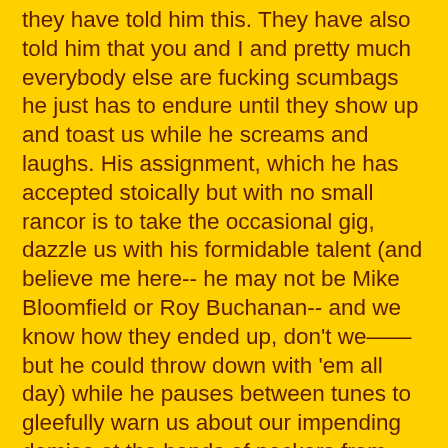they have told him this. They have also told him that you and I and pretty much everybody else are fucking scumbags he just has to endure until they show up and toast us while he screams and laughs. His assignment, which he has accepted stoically but with no small rancor is to take the occasional gig, dazzle us with his formidable talent (and believe me here-- he may not be Mike Bloomfield or Roy Buchanan-- and we know how they ended up, don't we—— but he could throw down with 'em all day) while he pauses between tunes to gleefully warn us about our impending demise at the hands of peckers from outer space coming to save him and barbecue us. I don't know what their rig looks like for sure but apparently Don has seen it and they're coming 371 light years with one empty seat. Whatever Don Roth met at the crossroads it had an agenda like Charles Manson's and a 19-foot wingspan.
Ooooh, yeah. Instead I'll play some Sonny Rollins and some spoken-word